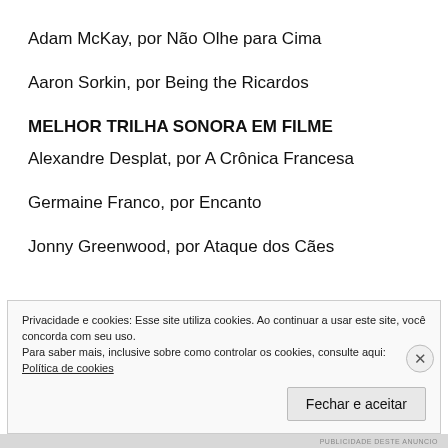Adam McKay, por Não Olhe para Cima
Aaron Sorkin, por Being the Ricardos
MELHOR TRILHA SONORA EM FILME
Alexandre Desplat, por A Crônica Francesa
Germaine Franco, por Encanto
Jonny Greenwood, por Ataque dos Cães
Privacidade e cookies: Esse site utiliza cookies. Ao continuar a usar este site, você concorda com seu uso.
Para saber mais, inclusive sobre como controlar os cookies, consulte aqui:
Política de cookies
PUBLICIDADE DESTE ANUNCIO